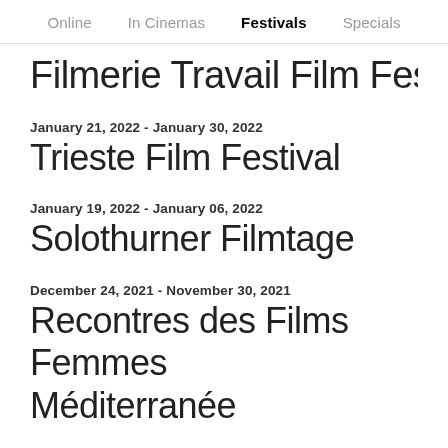Online   In Cinemas   Festivals   Specials
Filmerie Travail Film Festival
January 21, 2022 - January 30, 2022
Trieste Film Festival
January 19, 2022 - January 06, 2022
Solothurner Filmtage
December 24, 2021 - November 30, 2021
Recontres des Films Femmes Méditerranée